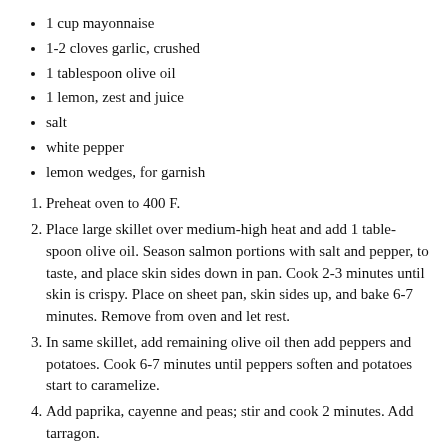1 cup mayonnaise
1-2 cloves garlic, crushed
1 tablespoon olive oil
1 lemon, zest and juice
salt
white pepper
lemon wedges, for garnish
Preheat oven to 400 F.
Place large skillet over medium-high heat and add 1 tablespoon olive oil. Season salmon portions with salt and pepper, to taste, and place skin sides down in pan. Cook 2-3 minutes until skin is crispy. Place on sheet pan, skin sides up, and bake 6-7 minutes. Remove from oven and let rest.
In same skillet, add remaining olive oil then add peppers and potatoes. Cook 6-7 minutes until peppers soften and potatoes start to caramelize.
Add paprika, cayenne and peas; stir and cook 2 minutes. Add tarragon.
To make romesco sauce: In clean pan, heat olive oil and gently fry garlic, nuts and bread until toasted.
In blender, process red pepper, tomato puree and vinegar until smooth. Add toasted nuts and bread; process to desired